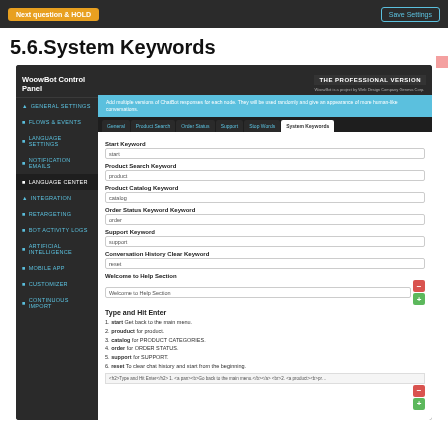Next question & HOLD | Save Settings
5.6.System Keywords
[Figure (screenshot): WoowBot Control Panel screenshot showing System Keywords settings tab with fields for Start Keyword (start), Product Search Keyword (product), Product Catalog Keyword (catalog), Order Status Keyword (order), Support Keyword (support), Conversation History Clear Keyword (reset), Welcome to Help Section field, and a Type and Hit Enter section listing 1. start Get back to the main menu. 2. prouduct for product. 3. catalog for PRODUCT CATEGORIES. 4. order for ORDER STATUS. 5. support for SUPPORT. 6. reset To clear chat history and start from the beginning.]